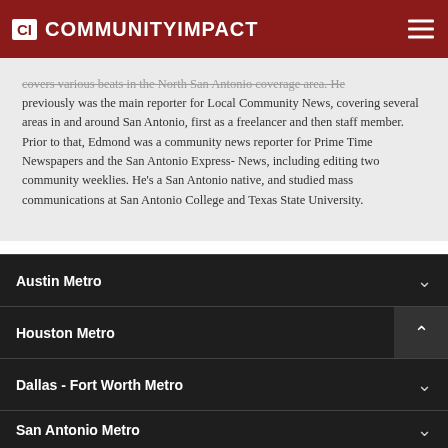CI COMMUNITYIMPACT
covers various beats in the North San Antonio coverage area. He previously was the main reporter for Local Community News, covering several areas in and around San Antonio, first as a freelancer and then staff member. Prior to that, Edmond was a community news reporter for Prime Time Newspapers and the San Antonio Express-News, including editing two community weeklies. He's a San Antonio native, and studied mass communications at San Antonio College and Texas State University.
Austin Metro
Houston Metro
Dallas - Fort Worth Metro
San Antonio Metro